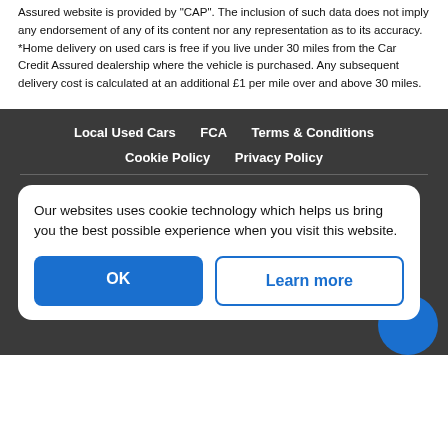Assured website is provided by "CAP". The inclusion of such data does not imply any endorsement of any of its content nor any representation as to its accuracy. *Home delivery on used cars is free if you live under 30 miles from the Car Credit Assured dealership where the vehicle is purchased. Any subsequent delivery cost is calculated at an additional £1 per mile over and above 30 miles.
Local Used Cars   FCA   Terms & Conditions   Cookie Policy   Privacy Policy
Our websites uses cookie technology which helps us bring you the best possible experience when you visit this website.